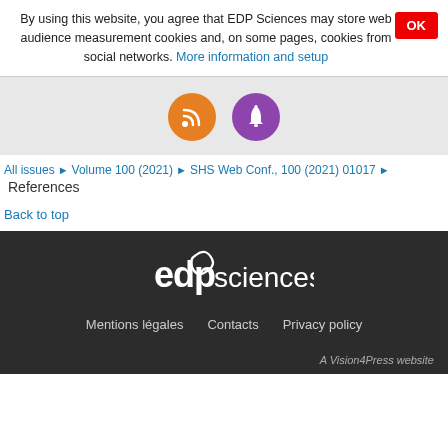By using this website, you agree that EDP Sciences may store web audience measurement cookies and, on some pages, cookies from social networks. More information and setup
[Figure (infographic): Orange RSS feed icon circle and purple notification bell icon circle]
All issues ▶ Volume 100 (2021) ▶ SHS Web Conf., 100 (2021) 01017 ▶ References
Back to top
[Figure (logo): EDP Sciences logo in white on dark background]
Mentions légales   Contacts   Privacy policy
A Vision4Press website